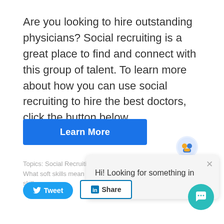Are you looking to hire outstanding physicians? Social recruiting is a great place to find and connect with this group of talent. To learn more about how you can use social recruiting to hire the best doctors, click the button below.
[Figure (other): Blue 'Learn More' call-to-action button]
Topics: Social Recruiting, So What soft skills mean in ph skills
[Figure (other): Chat popup widget with icon and message 'Hi! Looking for something in particular?' with close button]
[Figure (other): Tweet button (blue rounded) and LinkedIn Share button (bordered)]
[Figure (other): Teal circular chat/messenger button in bottom right corner]